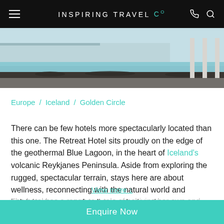INSPIRING TRAVEL Co
[Figure (photo): Exterior view of Blue Lagoon geothermal pool with columns and dark lava rock border in Iceland]
Europe / Iceland / Golden Circle
There can be few hotels more spectacularly located than this one. The Retreat Hotel sits proudly on the edge of the geothermal Blue Lagoon, in the heart of Iceland's volcanic Reykjanes Peninsula. Aside from exploring the rugged, spectacular terrain, stays here are about wellness, reconnecting with the natural world and indulging in a spot of well-earned relaxation.
The hotel has a range to a tale of achieving her own and...
View more ↓
Enquire Now